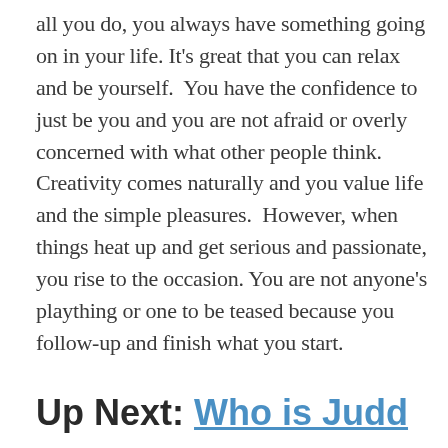all you do, you always have something going on in your life. It's great that you can relax and be yourself.  You have the confidence to just be you and you are not afraid or overly concerned with what other people think.  Creativity comes naturally and you value life and the simple pleasures.  However, when things heat up and get serious and passionate, you rise to the occasion. You are not anyone's plaything or one to be teased because you follow-up and finish what you start.
Up Next: Who is Judd